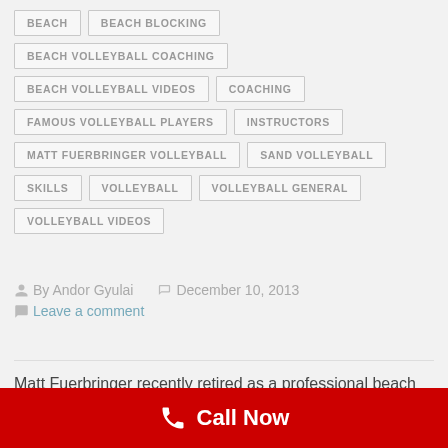BEACH
BEACH BLOCKING
BEACH VOLLEYBALL COACHING
BEACH VOLLEYBALL VIDEOS
COACHING
FAMOUS VOLLEYBALL PLAYERS
INSTRUCTORS
MATT FUERBRINGER VOLLEYBALL
SAND VOLLEYBALL
SKILLS
VOLLEYBALL
VOLLEYBALL GENERAL
VOLLEYBALL VIDEOS
By Andor Gyulai   December 10, 2013
Leave a comment
Matt Fuerbringer recently retired as a professional beach volleyball player after dominating on the AVP and FIVB tours for years. Acknowledge as one of the best beach blockers in the world his series of videos contains 27 instructional videos and drills on the
Call Now